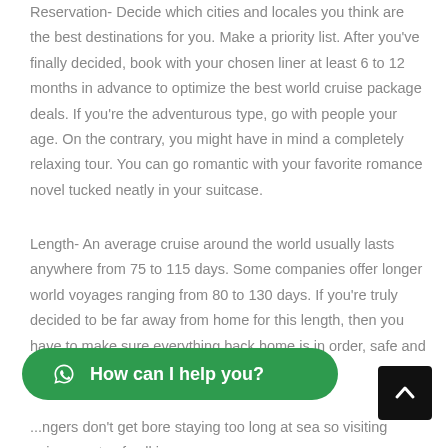Reservation- Decide which cities and locales you think are the best destinations for you. Make a priority list. After you've finally decided, book with your chosen liner at least 6 to 12 months in advance to optimize the best world cruise package deals. If you're the adventurous type, go with people your age. On the contrary, you might have in mind a completely relaxing tour. You can go romantic with your favorite romance novel tucked neatly in your suitcase.
Length- An average cruise around the world usually lasts anywhere from 75 to 115 days. Some companies offer longer world voyages ranging from 80 to 130 days. If you're truly decided to be far away from home for this length, then you have to make sure everything back home is in order, safe and secured.
...ngers don't get bore staying too long at sea so visiting unique ports of call is a